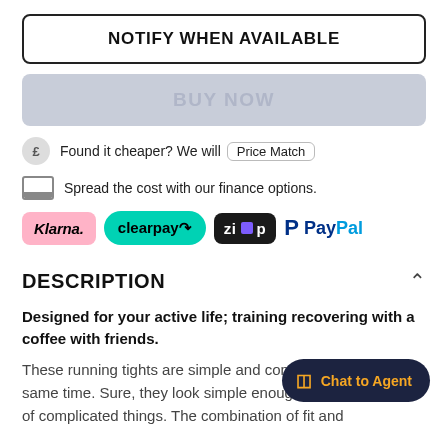NOTIFY WHEN AVAILABLE
BUY NOW
Found it cheaper? We will Price Match
Spread the cost with our finance options.
[Figure (logo): Payment logos: Klarna, Clearpay, Zip, PayPal]
DESCRIPTION
Designed for your active life; training recovering with a coffee with friends.
These running tights are simple and complicated all at the same time. Sure, they look simple enough – but they do lots of complicated things. The combination of fit and